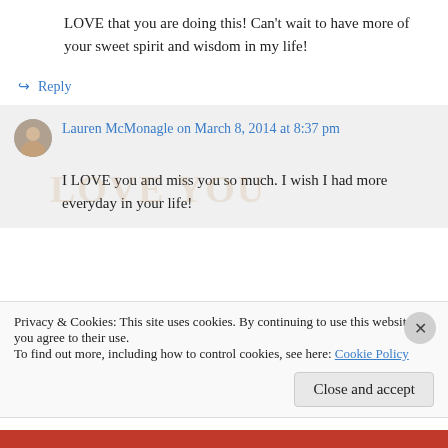LOVE that you are doing this! Can’t wait to have more of your sweet spirit and wisdom in my life!
↳ Reply
Lauren McMonagle on March 8, 2014 at 8:37 pm
I LOVE you and miss you so much. I wish I had more everyday in your life!
Privacy & Cookies: This site uses cookies. By continuing to use this website, you agree to their use.
To find out more, including how to control cookies, see here: Cookie Policy
Close and accept